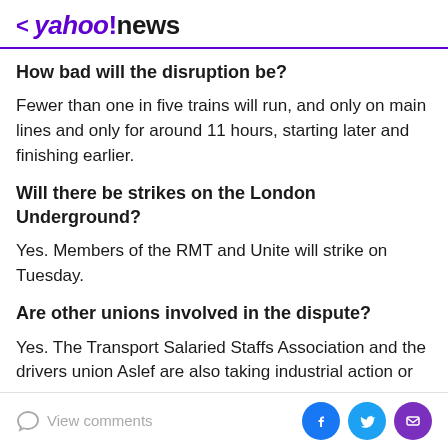< yahoo!news
How bad will the disruption be?
Fewer than one in five trains will run, and only on main lines and only for around 11 hours, starting later and finishing earlier.
Will there be strikes on the London Underground?
Yes. Members of the RMT and Unite will strike on Tuesday.
Are other unions involved in the dispute?
Yes. The Transport Salaried Staffs Association and the drivers union Aslef are also taking industrial action or
View comments